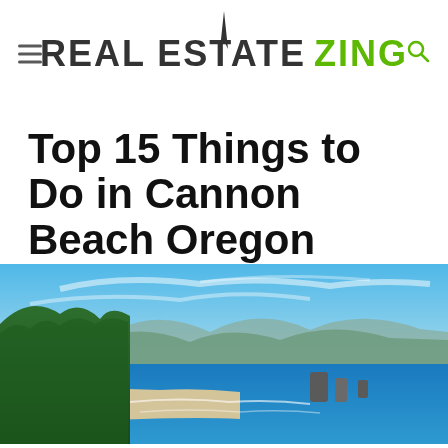REAL ESTATE ZING
Top 15 Things to Do in Cannon Beach Oregon
By: Will
[Figure (photo): Aerial coastal landscape of Cannon Beach Oregon showing rocky outcroppings, sandy beach with waves, forested cliffs, and mountains in the background under a blue sky with wispy clouds.]